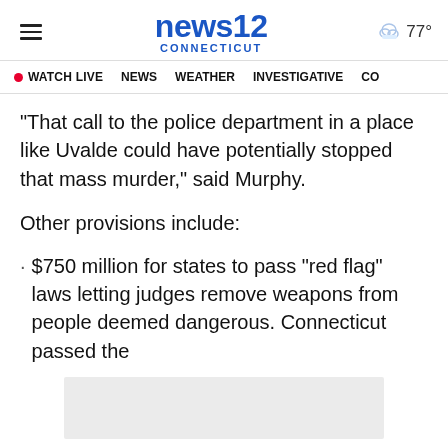news12 CONNECTICUT — 77°
• WATCH LIVE  NEWS  WEATHER  INVESTIGATIVE  CO
"That call to the police department in a place like Uvalde could have potentially stopped that mass murder," said Murphy.
Other provisions include:
· $750 million for states to pass "red flag" laws letting judges remove weapons from people deemed dangerous. Connecticut passed the
[Figure (other): Advertisement placeholder box (light grey rectangle)]